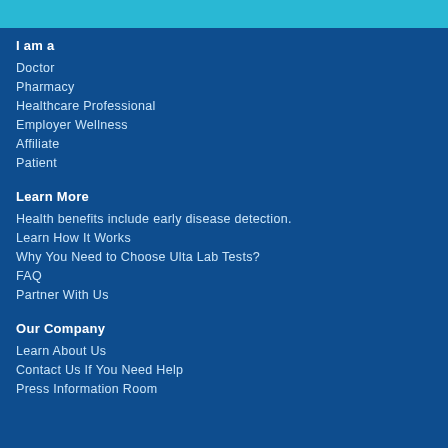I am a
Doctor
Pharmacy
Healthcare Professional
Employer Wellness
Affiliate
Patient
Learn More
Health benefits include early disease detection.
Learn How It Works
Why You Need to Choose Ulta Lab Tests?
FAQ
Partner With Us
Our Company
Learn About Us
Contact Us If You Need Help
Press Information Room